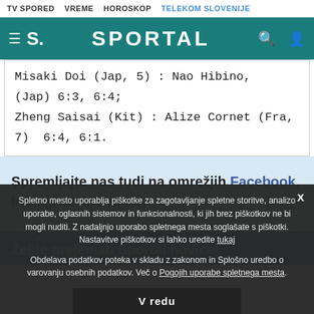TV SPORED  VREME  HOROSKOP  TELEKOM SLOVENIJE
[Figure (screenshot): Sportal website header with hamburger menu, S. logo, SPORTAL title, search and user icons on teal background]
Misaki Doi (Jap, 5) : Nao Hibino,  (Jap) 6:3, 6:4;
Zheng Saisai (Kit) : Alize Cornet (Fra, 7)  6:4, 6:1.
Spremljajte nas tudi na omrežjih Facebook, Instagram in Twitter.
Želite prejemati Sportal novice!
Spletno mesto uporablja piškotke za zagotavljanje spletne storitve, analizo uporabe, oglasnih sistemov in funkcionalnosti, ki jih brez piškotkov ne bi mogli nuditi. Z nadaljnjo uporabo spletnega mesta soglašate s piškotki. Nastavitve piškotkov si lahko uredite tukaj
Obdelava podatkov poteka v skladu z zakonom in Splošno uredbo o varovanju osebnih podatkov. Več o Pogojih uporabe spletnega mesta.
V redu